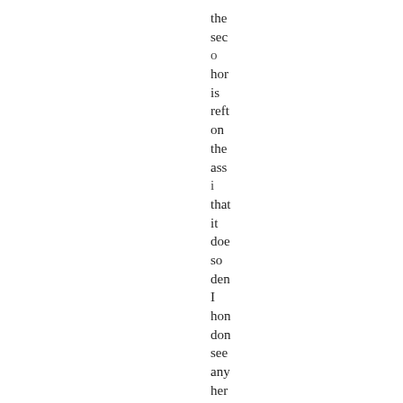the seco hor is reft on the assi that it doe so den I hon don see any her that lea me to